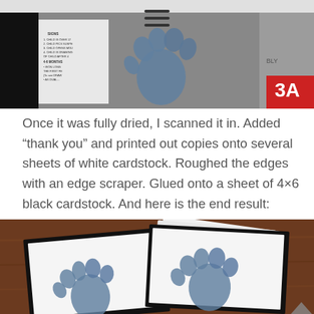[Figure (photo): Top photo showing a printed document with blue handprint/footprint and text listing, partially visible, with a red sign on the right edge]
Once it was fully dried, I scanned it in. Added “thank you” and printed out copies onto several sheets of white cardstock. Roughed the edges with an edge scraper. Glued onto a sheet of 4×6 black cardstock. And here is the end result:
[Figure (photo): Bottom photo showing finished thank-you cards with blue handprint design printed on white cardstock, glued onto black 4x6 cardstock, arranged on a wooden table surface]